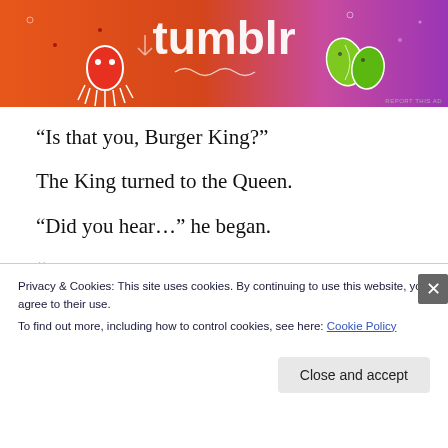[Figure (screenshot): Tumblr advertisement banner with orange-to-pink gradient background, 'tumblr' text in white, decorative squid and leaf characters]
“Is that you, Burger King?”
The King turned to the Queen.
“Did you hear…” he began.
“In here, Sire.”
Privacy & Cookies: This site uses cookies. By continuing to use this website, you agree to their use.
To find out more, including how to control cookies, see here: Cookie Policy